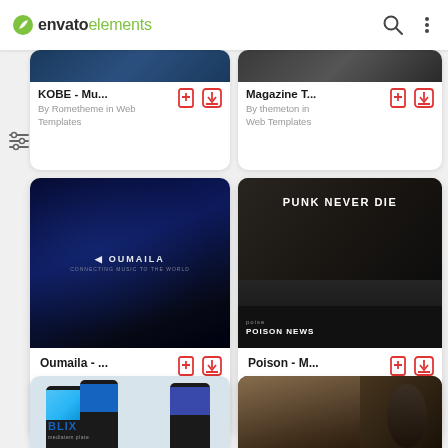envato elements
[Figure (screenshot): KOBE - Mu... By Rometheme in Web Templates - partial card at top left]
[Figure (screenshot): Magazine T... By themeton in Web Templates - partial card at top right]
[Figure (screenshot): Oumaila - ... By mutationthemes in Web Templates - dark blue musical theme card]
[Figure (screenshot): Poison - M... By xvelopers in Web Templates - punk never die theme card]
[Figure (screenshot): BLIX mobile template partial card at bottom left]
[Figure (screenshot): Portrait photo web template partial card at bottom right]